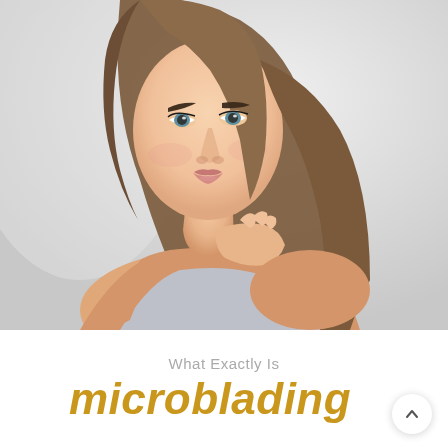[Figure (photo): Portrait photo of a beautiful young woman with long straight brown hair, wearing a light blue strapless top, hand raised to chin, looking over shoulder against a light grey background. She has defined eyebrows, blue-grey eyes, and full lips.]
What Exactly Is
microblading